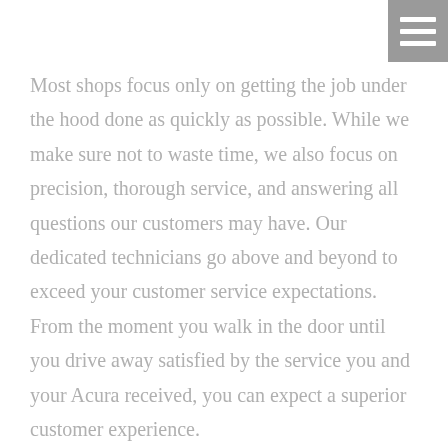[Figure (other): Hamburger menu icon — three horizontal white bars on a gray square background, positioned top-right corner]
Most shops focus only on getting the job under the hood done as quickly as possible. While we make sure not to waste time, we also focus on precision, thorough service, and answering all questions our customers may have. Our dedicated technicians go above and beyond to exceed your customer service expectations. From the moment you walk in the door until you drive away satisfied by the service you and your Acura received, you can expect a superior customer experience.
Whether you need routine maintenance or repairs for major damage, our team of certified technicians provides top-notch service for any Acura model.